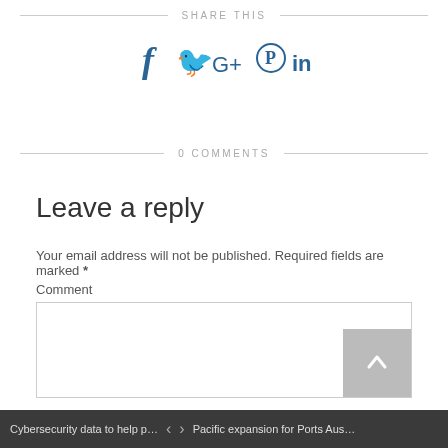SHARE THIS
[Figure (infographic): Social media share icons: Facebook (f), Twitter (bird/tweet icon), Google+ (G+), Pinterest (circle P), LinkedIn (in)]
0 COMMENTS
Leave a reply
Your email address will not be published. Required fields are marked *
Comment
Cybersecurity data to help prevent online… < > Pacific expansion for Ports Australia me…